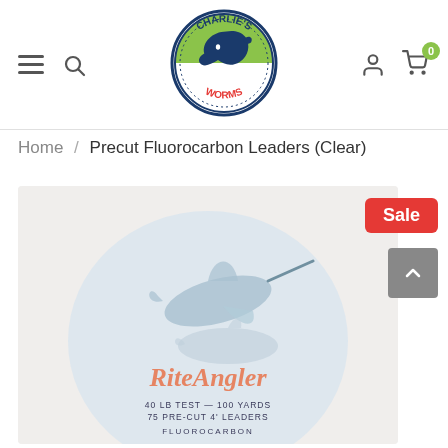Charlie's Worms website header with hamburger menu, search, logo, user icon, and cart (0)
Home / Precut Fluorocarbon Leaders (Clear)
Sale
[Figure (photo): Product image of RiteAngler Precut Fluorocarbon Leaders (Clear) package — 40 LB TEST — 100 YARDS, 75 PRE-CUT 4' LEADERS, FLUOROCARBON — showing a marlin/swordfish and shark illustration on a light blue circular background inside a clear plastic bag]